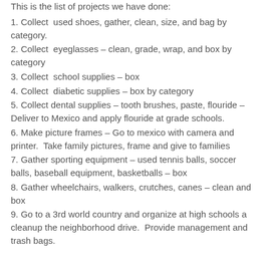This is the list of projects we have done:
1. Collect  used shoes, gather, clean, size, and bag by category.
2. Collect  eyeglasses – clean, grade, wrap, and box by category
3. Collect  school supplies – box
4. Collect  diabetic supplies – box by category
5. Collect dental supplies – tooth brushes, paste, flouride – Deliver to Mexico and apply flouride at grade schools.
6. Make picture frames – Go to mexico with camera and printer.  Take family pictures, frame and give to families
7. Gather sporting equipment – used tennis balls, soccer balls, baseball equipment, basketballs – box
8. Gather wheelchairs, walkers, crutches, canes – clean and box
9. Go to a 3rd world country and organize at high schools a cleanup the neighborhood drive.  Provide management and trash bags.